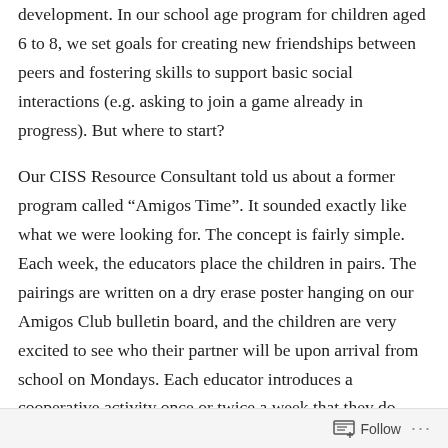development. In our school age program for children aged 6 to 8, we set goals for creating new friendships between peers and fostering skills to support basic social interactions (e.g. asking to join a game already in progress). But where to start?
Our CISS Resource Consultant told us about a former program called “Amigos Time”. It sounded exactly like what we were looking for. The concept is fairly simple. Each week, the educators place the children in pairs. The pairings are written on a dry erase poster hanging on our Amigos Club bulletin board, and the children are very excited to see who their partner will be upon arrival from school on Mondays. Each educator introduces a cooperative activity once or twice a week that they do together.
Follow ...